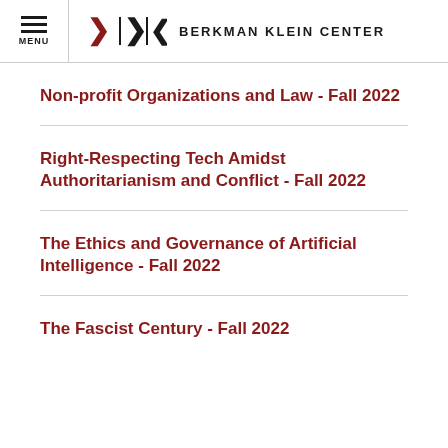MENU | BERKMAN KLEIN CENTER
Non-profit Organizations and Law - Fall 2022
Right-Respecting Tech Amidst Authoritarianism and Conflict - Fall 2022
The Ethics and Governance of Artificial Intelligence - Fall 2022
The Fascist Century - Fall 2022